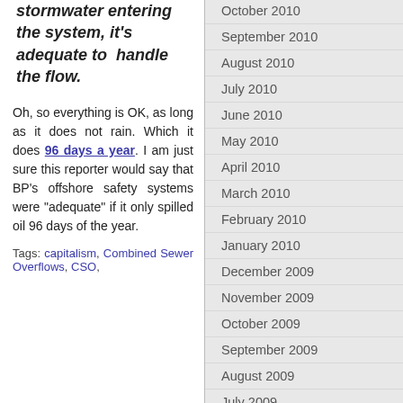stormwater entering the system, it's adequate to handle the flow.
Oh, so everything is OK, as long as it does not rain. Which it does 96 days a year. I am just sure this reporter would say that BP's offshore safety systems were "adequate" if it only spilled oil 96 days of the year.
Tags: capitalism, Combined Sewer Overflows, CSO,
October 2010
September 2010
August 2010
July 2010
June 2010
May 2010
April 2010
March 2010
February 2010
January 2010
December 2009
November 2009
October 2009
September 2009
August 2009
July 2009
June 2009
May 2009
April 2009
March 2009
February 2009